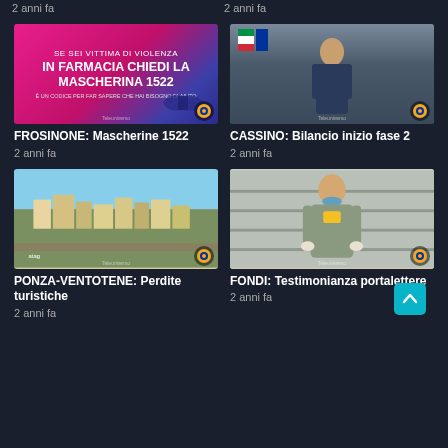2 anni fa
2 anni fa
[Figure (screenshot): Pink and blue promotional graphic: 'SE SEI VITTIMA DI VIOLENZA IN FARMACIA CHIEDI LA MASCHERINA 1522']
[Figure (screenshot): Man speaking in front of Italian and EU flags]
FROSINONE: Mascherine 1522
CASSINO: Bilancio inizio fase 2
2 anni fa
2 anni fa
[Figure (screenshot): Aerial view of coastal town Ponza-Ventotene]
[Figure (screenshot): Man wearing mask around neck, postal worker uniform]
PONZA-VENTOTENE: Perdite turistiche
FONDI: Testimonianza portalettere
2 anni fa
2 anni fa